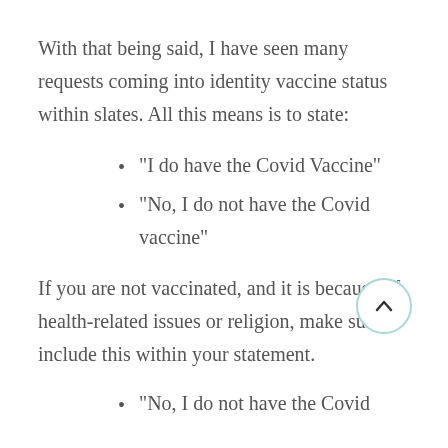With that being said, I have seen many requests coming into identity vaccine status within slates. All this means is to state:
“I do have the Covid Vaccine”
“No, I do not have the Covid vaccine”
If you are not vaccinated, and it is because of health-related issues or religion, make sure to include this within your statement.
“No, I do not have the Covid